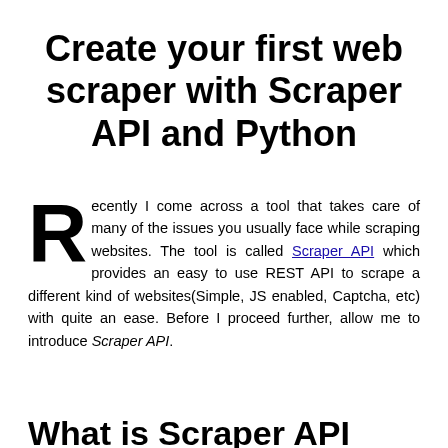Create your first web scraper with Scraper API and Python
Recently I come across a tool that takes care of many of the issues you usually face while scraping websites. The tool is called Scraper API which provides an easy to use REST API to scrape a different kind of websites(Simple, JS enabled, Captcha, etc) with quite an ease. Before I proceed further, allow me to introduce Scraper API.
What is Scraper API